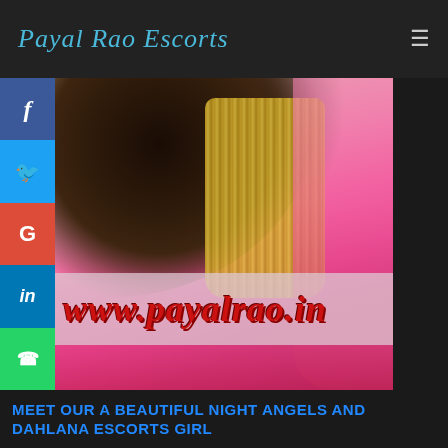Payal Rao Escorts
[Figure (photo): Woman in pink saree with gold embroidered blouse, back view, with watermark www.payalrao.in]
MEET OUR A BEAUTIFUL NIGHT ANGELS AND DAHLANA ESCORTS GIRL